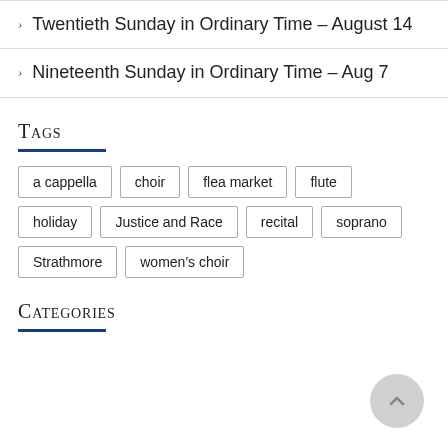Twentieth Sunday in Ordinary Time – August 14
Nineteenth Sunday in Ordinary Time – Aug 7
Tags
a cappella
choir
flea market
flute
holiday
Justice and Race
recital
soprano
Strathmore
women's choir
Categories